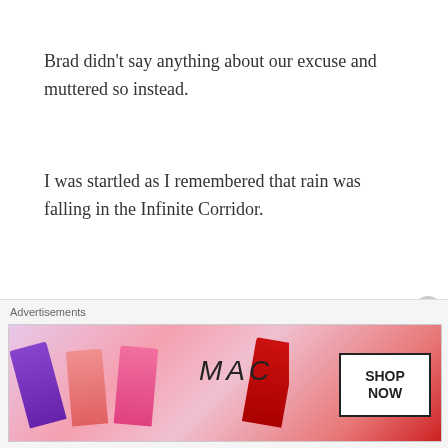Brad didn’t say anything about our excuse and muttered so instead.
I was startled as I remembered that rain was falling in the Infinite Corridor.
“You, did you see something here?”
“N-no, nothing......”
“We were taken into the Infinite Corridor, but we
[Figure (photo): MAC cosmetics advertisement showing colorful lipsticks (purple, pink, coral, red) with MAC logo and a 'SHOP NOW' box. Labeled 'Advertisements' above.]